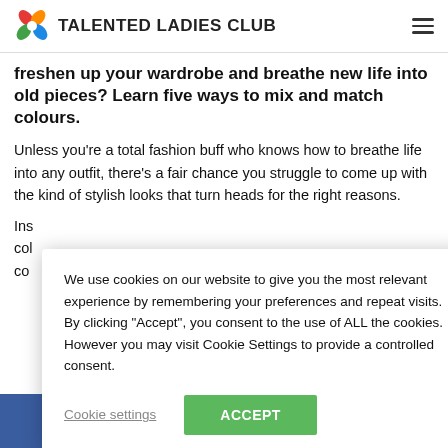TALENTED LADIES CLUB
freshen up your wardrobe and breathe new life into old pieces? Learn five ways to mix and match colours.
Unless you're a total fashion buff who knows how to breathe life into any outfit, there's a fair chance you struggle to come up with the kind of stylish looks that turn heads for the right reasons.
Ins... col... co...
We use cookies on our website to give you the most relevant experience by remembering your preferences and repeat visits. By clicking "Accept", you consent to the use of ALL the cookies. However you may visit Cookie Settings to provide a controlled consent.
Cookie settings | ACCEPT
[Figure (screenshot): Bottom strip showing partial text HOW MUCH DO YOU on a blue background]